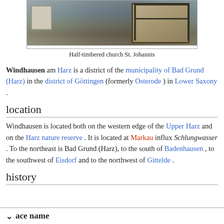[Figure (photo): Photograph of Half-timbered church St. Johannis building with timber frame architecture]
Half-timbered church St. Johannis
Windhausen am Harz is a district of the municipality of Bad Grund (Harz) in the district of Göttingen (formerly Osterode ) in Lower Saxony .
location
Windhausen is located both on the western edge of the Upper Harz and on the Harz nature reserve . It is located at Markau influx Schlungwasser . To the northeast is Bad Grund (Harz), to the south of Badenhausen , to the southwest of Eisdorf and to the northwest of Gittelde .
history
ace name